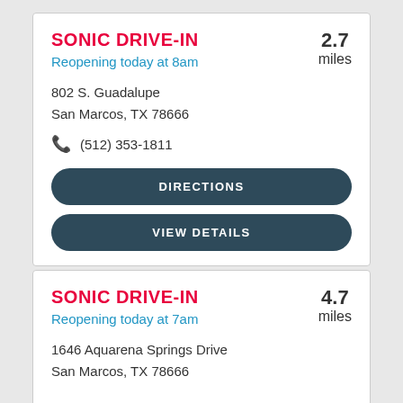SONIC DRIVE-IN
Reopening today at 8am
2.7 miles
802 S. Guadalupe
San Marcos, TX 78666
(512) 353-1811
DIRECTIONS
VIEW DETAILS
SONIC DRIVE-IN
Reopening today at 7am
4.7 miles
1646 Aquarena Springs Drive
San Marcos, TX 78666